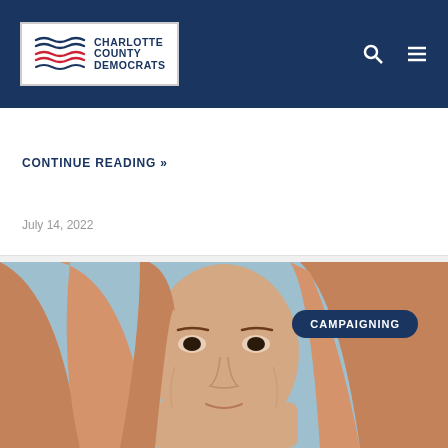Charlotte County Democrats
CONTINUE READING »
July 14, 2022
[Figure (photo): Close-up portrait photo of a woman with long reddish-blonde hair against a light blue background, with a 'CAMPAIGNING' badge overlay in dark navy blue]